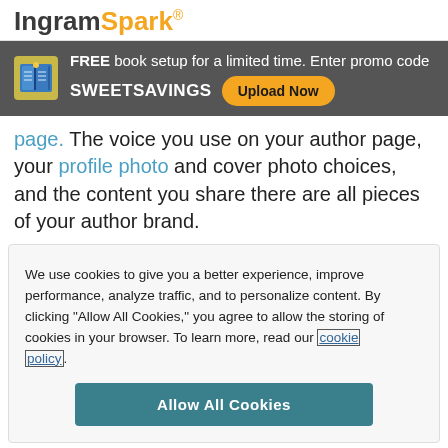IngramSpark®
FREE book setup for a limited time. Enter promo code SWEETSAVINGS  Upload Now
page. The voice you use on your author page, your profile photo and cover photo choices, and the content you share there are all pieces of your author brand.
We use cookies to give you a better experience, improve performance, analyze traffic, and to personalize content. By clicking "Allow All Cookies," you agree to allow the storing of cookies in your browser. To learn more, read our cookie policy.
Allow All Cookies